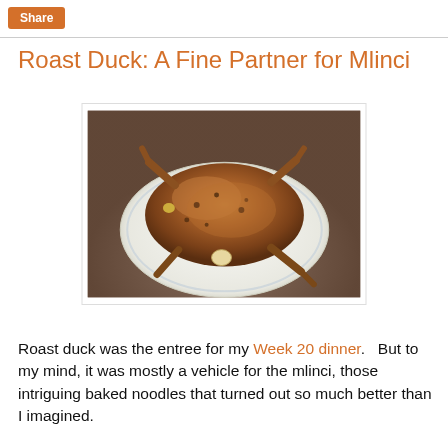Share
Roast Duck: A Fine Partner for Mlinci
[Figure (photo): A whole roast duck, golden-brown and glistening, served on a white decorative plate on a dark countertop.]
Roast duck was the entree for my Week 20 dinner.   But to my mind, it was mostly a vehicle for the mlinci, those intriguing baked noodles that turned out so much better than I imagined.